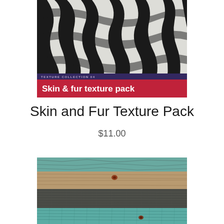[Figure (photo): Close-up photo of zebra stripes — black and white stripe pattern with a curved neck/back visible. Has a dark purple banner at the bottom reading 'TEXTURE COLLECTION 04' and a red banner below it reading 'Skin & fur texture pack'.]
Skin and Fur Texture Pack
$11.00
[Figure (photo): Close-up macro photo of reptile or snake skin texture showing layered scales in teal/turquoise and brown/earth tones with horizontal banding pattern.]